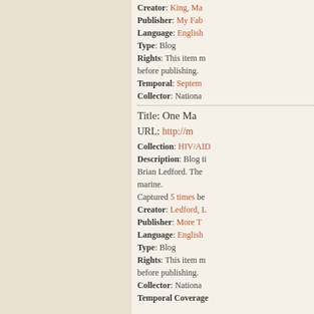Creator: King, Ma... Publisher: My Fab... Language: English Type: Blog Rights: This item m... before publishing. Temporal: Septem... Collector: Nationa...
Title: One Ma...
URL: http://m...
Collection: HIV/AID... Description: Blog ti... Brian Ledford. The ... marine. Captured 5 times be... Creator: Ledford, L... Publisher: More T... Language: English Type: Blog Rights: This item m... before publishing. Collector: Nationa... Temporal Coverage...